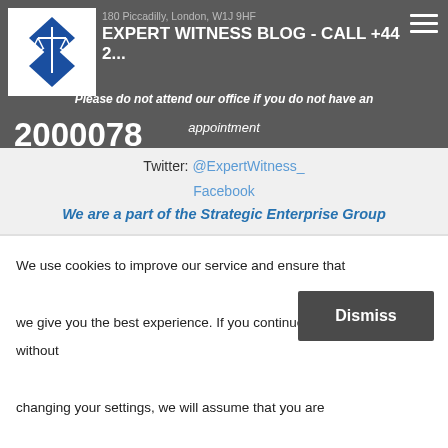180 Piccadilly, London, W1J 9HF
EXPERT WITNESS BLOG - CALL +44 2... 2000078
Please do not attend our office if you do not have an appointment
Twitter: @ExpertWitness_
Facebook
We are a part of the Strategic Enterprise Group
We use cookies to improve our service and ensure that we give you the best experience. If you continue without changing your settings, we will assume that you are happy to receive all cookies on our website.